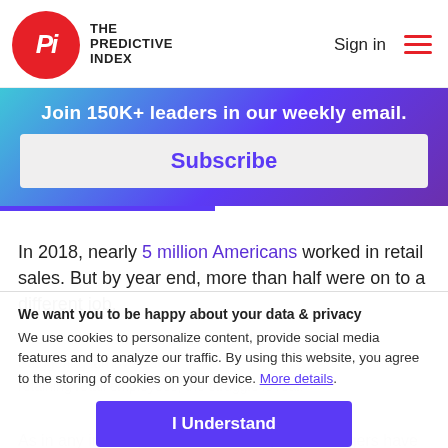THE PREDICTIVE INDEX | Sign in
Join 150K+ leaders in our weekly email.
Subscribe
In 2018, nearly 5 million Americans worked in retail sales. But by year end, more than half were on to a different job.
We want you to be happy about your data & privacy
We use cookies to personalize content, provide social media features and to analyze our traffic. By using this website, you agree to the storing of cookies on your device. More details.
I Understand